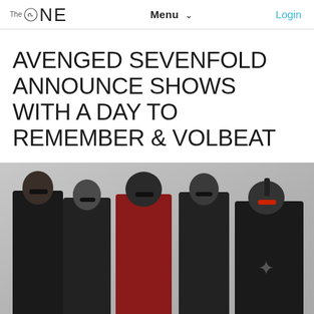The ONE  Menu  Login
AVENGED SEVENFOLD ANNOUNCE SHOWS WITH A DAY TO REMEMBER & VOLBEAT
[Figure (photo): Band photo of Avenged Sevenfold — five male band members posed together against a light grey background, wearing dark clothing and sunglasses, with tattoos visible.]